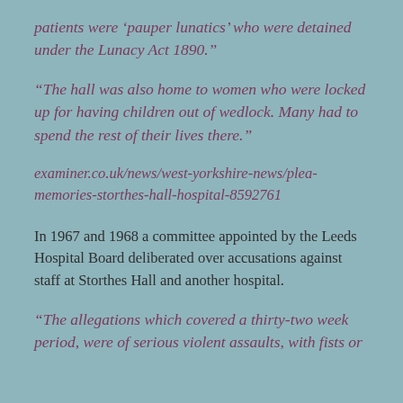patients were ‘pauper lunatics’ who were detained under the Lunacy Act 1890.”
“The hall was also home to women who were locked up for having children out of wedlock. Many had to spend the rest of their lives there.”
examiner.co.uk/news/west-yorkshire-news/plea-memories-storthes-hall-hospital-8592761
In 1967 and 1968 a committee appointed by the Leeds Hospital Board deliberated over accusations against staff at Storthes Hall and another hospital.
“The allegations which covered a thirty-two week period, were of serious violent assaults, with fists or